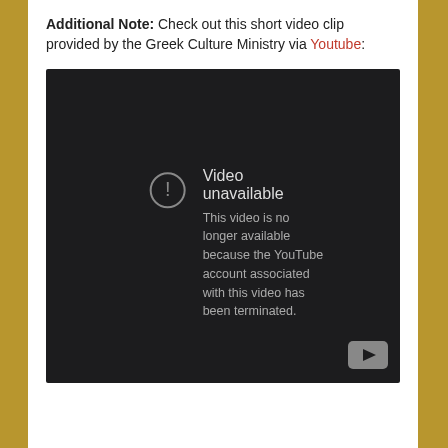Additional Note: Check out this short video clip provided by the Greek Culture Ministry via Youtube:
[Figure (screenshot): Embedded YouTube video player showing 'Video unavailable' error message. Text reads: 'This video is no longer available because the YouTube account associated with this video has been terminated.' YouTube logo icon visible in bottom right corner.]